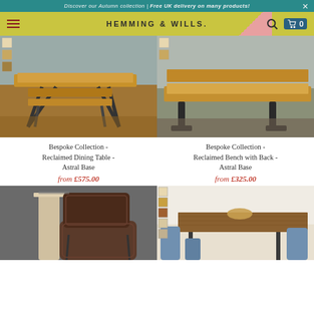Discover our Autumn collection | Free UK delivery on many products!
HEMMING & WILLS.
[Figure (photo): Reclaimed wood dining table with X-shaped metal legs and a matching bench in an industrial-style room]
[Figure (photo): Reclaimed wood bench with back and U-shaped metal legs close-up view]
Bespoke Collection - Reclaimed Dining Table - Astral Base
from £575.00
Bespoke Collection - Reclaimed Bench with Back - Astral Base
from £325.00
[Figure (photo): Dark brown leather dining chair against a light wood side table]
[Figure (photo): Reclaimed wood dining table with blue chairs and color swatches overlay]